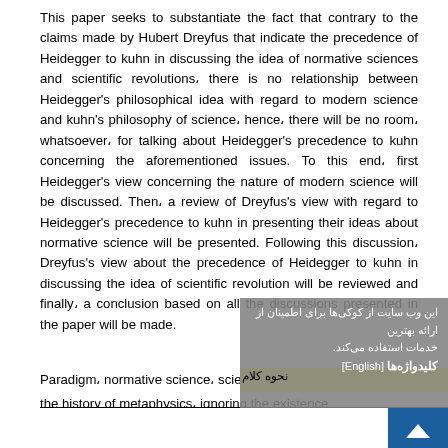This paper seeks to substantiate the fact that contrary to the claims made by Hubert Dreyfus that indicate the precedence of Heidegger to kuhn in discussing the idea of normative sciences and scientific revolutions, there is no relationship between Heidegger's philosophical idea with regard to modern science and kuhn's philosophy of science. hence, there will be no room, whatsoever, for talking about Heidegger's precedence to kuhn concerning the aforementioned issues. To this end, first Heidegger's view concerning the nature of modern science will be discussed. Then, a review of Dreyfus's view with regard to Heidegger's precedence to kuhn in presenting their ideas about normative science will be presented. Following this discussion, Dreyfus's view about the precedence of Heidegger to kuhn in discussing the idea of scientific revolution will be reviewed and finally, a conclusion based on all the discussions presented in the paper will be made.
Paradigm، normative science، scientific revolutions،
the history of metaphysics، ignoring the existence